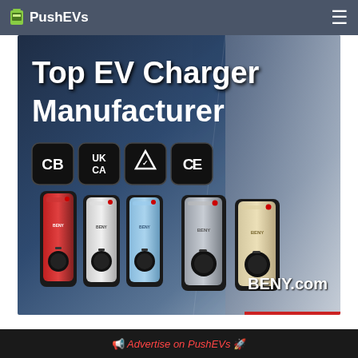PushEVs
[Figure (photo): BENY EV charger advertisement banner showing 5 wall-mount EV chargers in red, white, light blue, silver, and cream/gold colors. Text overlay says 'Top EV Charger Manufacturer'. Certification badges shown: CB, UKCA, RoHS-style triangle, CE. BENY.com URL shown bottom right.]
Top EV Charger Manufacturer
Advertise on PushEVs 🚀